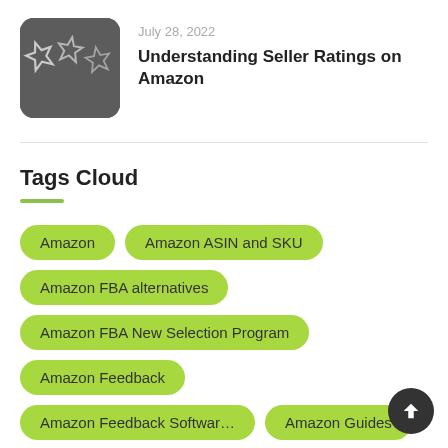[Figure (photo): Thumbnail image showing chalk-drawn stars on a dark chalkboard background, with rounded corners]
July 28, 2022
Understanding Seller Ratings on Amazon
Tags Cloud
Amazon
Amazon ASIN and SKU
Amazon FBA alternatives
Amazon FBA New Selection Program
Amazon Feedback
Amazon Feedback Software
Amazon Guides
Amazon Influencer Program